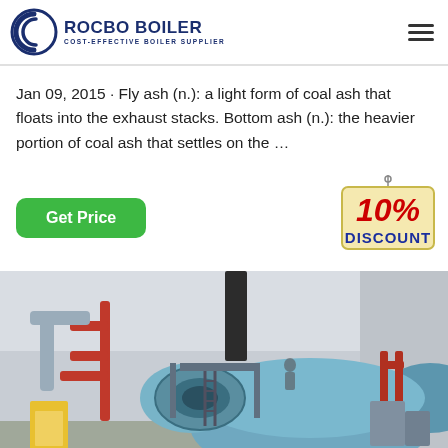[Figure (logo): Rocbo Boiler logo with circular wave icon and text 'ROCBO BOILER / COST-EFFECTIVE BOILER SUPPLIER' in dark blue]
Jan 09, 2015 · Fly ash (n.): a light form of coal ash that floats into the exhaust stacks. Bottom ash (n.): the heavier portion of coal ash that settles on the …
[Figure (infographic): Green 'Get Price' button on the left and a '10% DISCOUNT' badge illustration on the right]
[Figure (photo): Interior photo of an industrial boiler room showing a large cylindrical blue boiler with red and silver pipes, metal walkways, and industrial fittings]